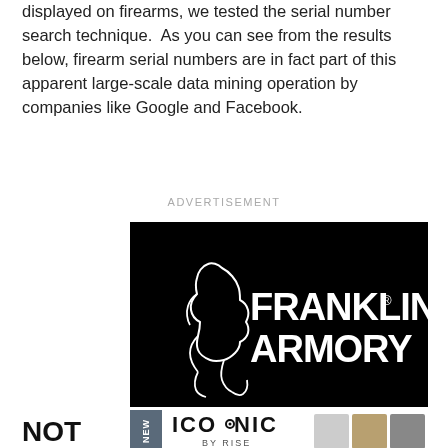displayed on firearms, we tested the serial number search technique.  As you can see from the results below, firearm serial numbers are in fact part of this apparent large-scale data mining operation by companies like Google and Facebook.
ADVERTISEMENT
[Figure (logo): Franklin Armory logo — black background with white silhouette of a founding father profile and white bold text reading FRANKLIN ARMORY with registered trademark symbol]
[Figure (logo): ICONIC BY RISE advertisement banner with gray NEW sidebar label and product images of firearm triggers]
NOT